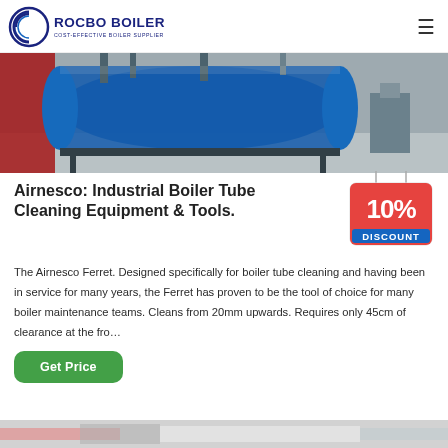ROCBO BOILER — COST-EFFECTIVE BOILER SUPPLIER
[Figure (photo): Industrial boiler equipment in a factory or workshop setting, showing large cylindrical boiler tanks with piping and support structures]
Airnesco: Industrial Boiler Tube Cleaning Equipment & Tools.
[Figure (infographic): 10% DISCOUNT badge/sticker in red and blue colors]
The Airnesco Ferret. Designed specifically for boiler tube cleaning and having been in service for many years, the Ferret has proven to be the tool of choice for many boiler maintenance teams. Cleans from 20mm upwards. Requires only 45cm of clearance at the fro…
[Figure (photo): Partial view of another boiler-related product or equipment at the bottom of the page]